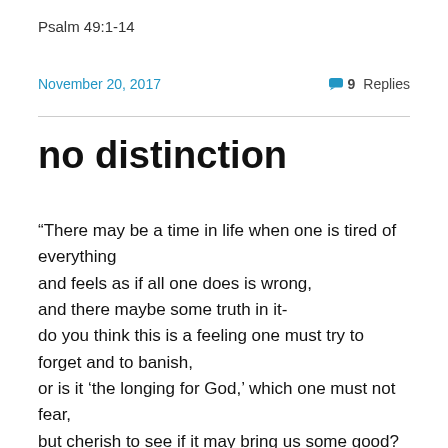Psalm 49:1-14
November 20, 2017   9 Replies
no distinction
“There may be a time in life when one is tired of everything
and feels as if all one does is wrong,
and there maybe some truth in it-
do you think this is a feeling one must try to forget and to banish,
or is it ‘the longing for God,’ which one must not fear,
but cherish to see if it may bring us some good?
Is it ‘the longing for God’ which leads us to make a choice which we never regret?